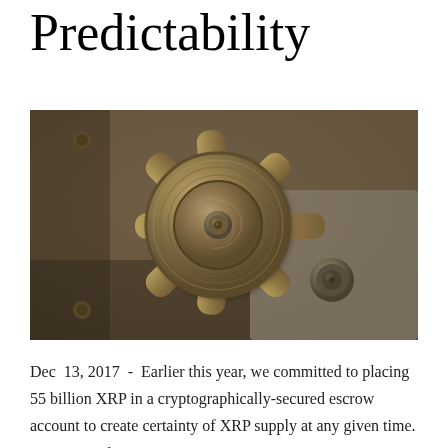Predictability
[Figure (photo): Close-up photograph of a large metal bank vault door handle/wheel mechanism, showing a central circular disk with spokes radiating outward, all in aged brass/bronze tones against a steel panel background.]
Dec 13, 2017 - Earlier this year, we committed to placing 55 billion XRP in a cryptographically-secured escrow account to create certainty of XRP supply at any given time. As promised,